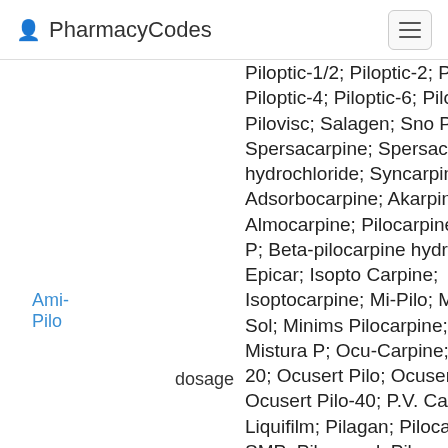PharmacyCodes
Piloptic-1/2; Piloptic-2; Piloptic-4; Piloptic-6; Pilovisc; Salagen; Sno Pilo; Spersacarpine; Spersacarpine hydrochloride; Syncarpine; Adsorbocarpine; Akarpine; Almocarpine; Pilocarpine P; Beta-pilocarpine hydrochloride; Epicar; Isopto Carpine; Isoptocarpine; Mi-Pilo; Miocarpine Sol; Minims Pilocarpine; Mistura P; Ocu-Carpine; Ocusert Pilo-20; Ocusert Pilo; Ocusert Pilo-40; P.V. Carpine Liquifilm; Pilagan; Pilocarpine SMP; Pilocarpal; Pilocarpine; Pilocarpine chloride; Pilocarpine hydrochloride; Pilocarpine monohydrochloride; Pilocarpine muriate; Pilocarpine nitrate
Ami-Pilo
dosage